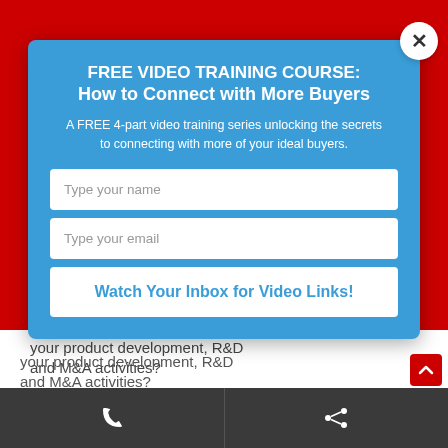FREE VIDEO TRAINING COURSE: How to Connect with More Buyers
A FREE 4-part video training series unlocking the secrets to connecting with more of your ideal buyers.
Type your name
Type your email
Watch Your Inbox for Video Links!
your product development, R&D and M&A activities?
Phone | Share